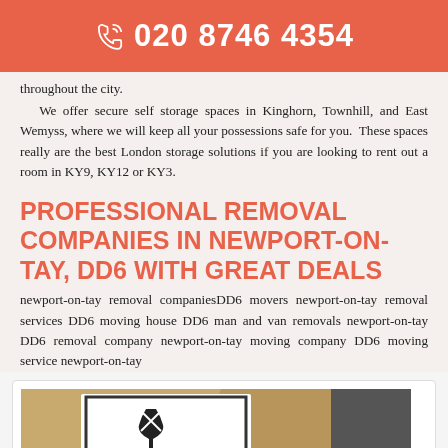☎ 020 8746 4354
throughout the city.
We offer secure self storage spaces in Kinghorn, Townhill, and East Wemyss, where we will keep all your possessions safe for you. These spaces really are the best London storage solutions if you are looking to rent out a room in KY9, KY12 or KY3.
PROFESSIONAL REMOVAL COMPANIES IN NEWPORT-ON-TAY, DD6 WITH GREAT DEALS
newport-on-tay removal companiesDD6 movers newport-on-tay removal services DD6 moving house DD6 man and van removals newport-on-tay DD6 removal company newport-on-tay moving company DD6 moving service newport-on-tay
[Figure (photo): Photo of a fragile label on a moving/shipping box with brown paper packaging visible in the background.]